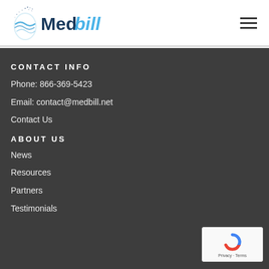[Figure (logo): Medbill logo with stylized water/globe graphic on the left and 'Medbill' text in dark blue and light blue]
CONTACT INFO
Phone: 866-369-5423
Email: contact@medbill.net
Contact Us
ABOUT US
News
Resources
Partners
Testimonials
[Figure (logo): reCAPTCHA badge with Google reCAPTCHA logo and Privacy - Terms text]